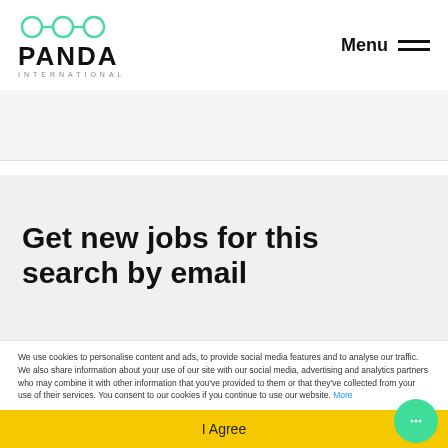[Figure (logo): Panda International logo with green circular chain icon and bold PANDA text with INTERNATIONAL subtitle]
Menu
Get new jobs for this search by email
We use cookies to personalise content and ads, to provide social media features and to analyse our traffic. We also share information about your use of our site with our social media, advertising and analytics partners who may combine it with other information that you've provided to them or that they've collected from your use of their services. You consent to our cookies if you continue to use our website. More
I Agree